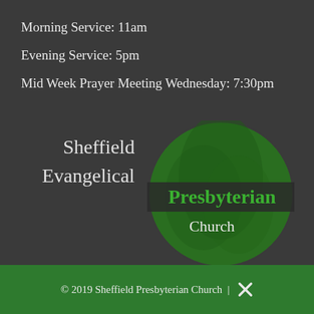Morning Service: 11am
Evening Service: 5pm
Mid Week Prayer Meeting Wednesday: 7:30pm
[Figure (logo): Sheffield Evangelical Presbyterian Church logo — green circle with leaf texture, overlaid with text 'Sheffield Evangelical' in white and 'Presbyterian' in green on dark band, 'Church' in white below]
© 2019 Sheffield Presbyterian Church | [cross icon]